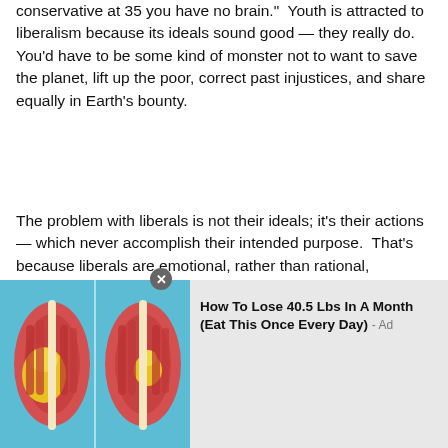conservative at 35 you have no brain."  Youth is attracted to liberalism because its ideals sound good — they really do.  You'd have to be some kind of monster not to want to save the planet, lift up the poor, correct past injustices, and share equally in Earth's bounty.
The problem with liberals is not their ideals; it's their actions — which never accomplish their intended purpose.  That's because liberals are emotional, rather than rational, animals.  They make decisions with their hormones, not their brains — just like children.  Try debating one, and you'll see.  I've tried.  It can't be done.  You'll be treated to an
[Figure (illustration): Advertisement overlay showing anatomical illustration of knee joints with yellow highlighted areas, with close button (X) and ad text 'How To Lose 40.5 Lbs In A Month (Eat This Once Every Day) - Ad']